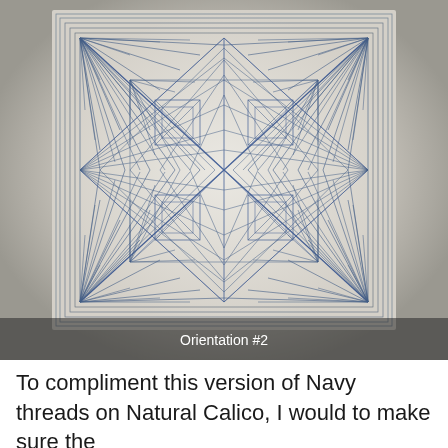[Figure (illustration): Photograph of a quilted textile artwork featuring a symmetrical geometric string art pattern in navy blue threads on a natural/off-white fabric background. The design shows four quadrants each with spiral fan-like radiating lines creating curved optical illusion shapes. A rectangular border frames the design. The caption 'Orientation #2' appears overlaid at the bottom of the image.]
Orientation #2
To compliment this version of Navy threads on Natural Calico, I would to make sure the